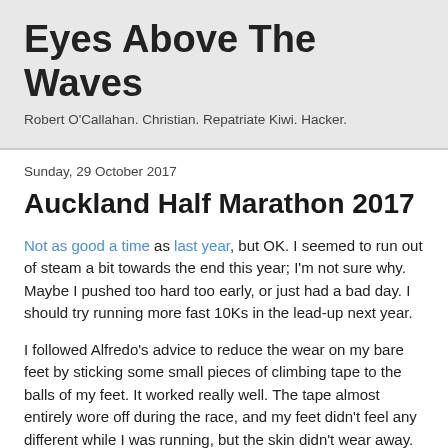Eyes Above The Waves
Robert O'Callahan. Christian. Repatriate Kiwi. Hacker.
Sunday, 29 October 2017
Auckland Half Marathon 2017
Not as good a time as last year, but OK. I seemed to run out of steam a bit towards the end this year; I'm not sure why. Maybe I pushed too hard too early, or just had a bad day. I should try running more fast 10Ks in the lead-up next year.
I followed Alfredo's advice to reduce the wear on my bare feet by sticking some small pieces of climbing tape to the balls of my feet. It worked really well. The tape almost entirely wore off during the race, and my feet didn't feel any different while I was running, but the skin didn't wear away. In experiments on training runs I discovered that strips of tape parallel to the side of the foot work better than strips